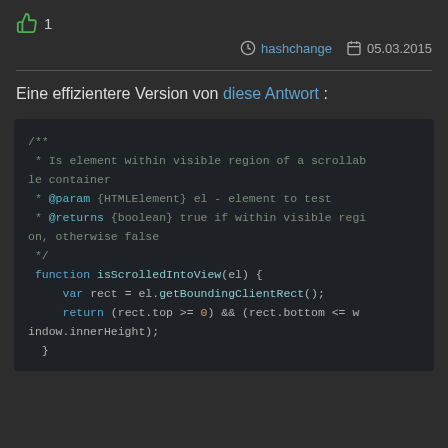👍 1
hashchange  05.03.2015
Eine effizientere Version von diese Antwort :
/**
 * Is element within visible region of a scrollable container
 * @param {HTMLElement} el - element to test
 * @returns {boolean} true if within visible region, otherwise false
 */
function isScrolledIntoView(el) {
    var rect = el.getBoundingClientRect();
    return (rect.top >= 0) && (rect.bottom <= window.innerHeight);
}